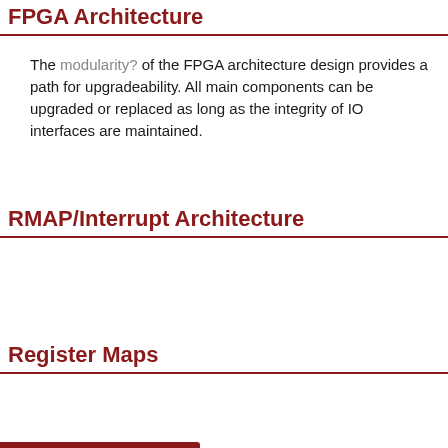FPGA Architecture
The modularity? of the FPGA architecture design provides a path for upgradeability. All main components can be upgraded or replaced as long as the integrity of IO interfaces are maintained.
RMAP/Interrupt Architecture
Register Maps
....